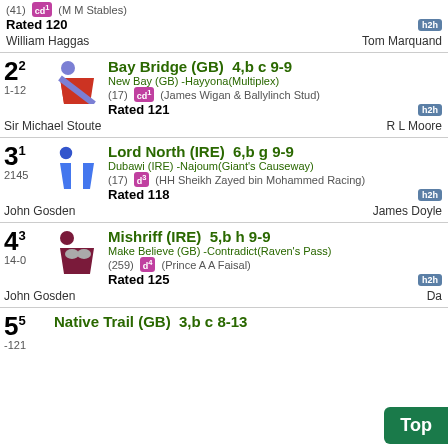(41) cd1 (M M Stables) Rated 120 h2h — William Haggas / Tom Marquand
2^2 1-12 Bay Bridge (GB) 4,b c 9-9 — New Bay (GB)-Hayyona(Multiplex) — (17) cd1 (James Wigan & Ballylinch Stud) — Rated 121 h2h — Sir Michael Stoute / R L Moore
3^1 2145 Lord North (IRE) 6,b g 9-9 — Dubawi (IRE)-Najoum(Giant's Causeway) — (17) d3 (HH Sheikh Zayed bin Mohammed Racing) — Rated 118 h2h — John Gosden / James Doyle
4^3 14-0 Mishriff (IRE) 5,b h 9-9 — Make Believe (GB)-Contradict(Raven's Pass) — (259) d4 (Prince A A Faisal) — Rated 125 h2h — John Gosden / Da...
5^5 -121 Native Trail (GB) 3,b c 8-13